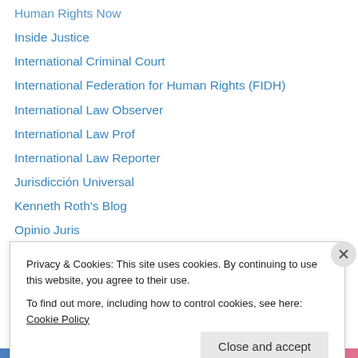Human Rights Now
Inside Justice
International Criminal Court
International Federation for Human Rights (FIDH)
International Law Observer
International Law Prof
International Law Reporter
Jurisdicción Universal
Kenneth Roth's Blog
Opinio Juris
Radio Netherlands
Richard Falk's Blog
UN Dispatch
Witness
Privacy & Cookies: This site uses cookies. By continuing to use this website, you agree to their use.
To find out more, including how to control cookies, see here: Cookie Policy